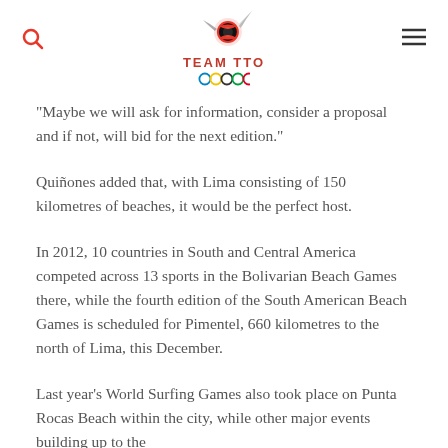TEAM TTO
"Maybe we will ask for information, consider a proposal and if not, will bid for the next edition."
Quiñones added that, with Lima consisting of 150 kilometres of beaches, it would be the perfect host.
In 2012, 10 countries in South and Central America competed across 13 sports in the Bolivarian Beach Games there, while the fourth edition of the South American Beach Games is scheduled for Pimentel, 660 kilometres to the north of Lima, this December.
Last year's World Surfing Games also took place on Punta Rocas Beach within the city, while other major events building up to the